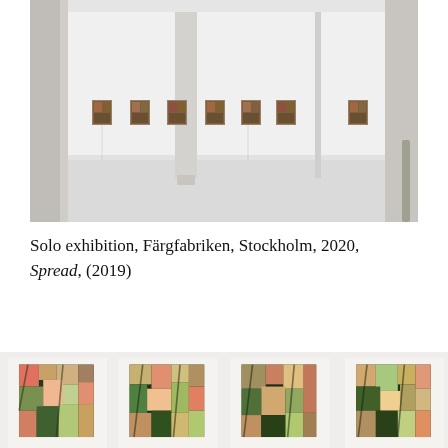[Figure (photo): Gallery installation photo showing a large white-walled exhibition space with concrete columns and several small framed artworks mounted in a horizontal line on the wall]
Solo exhibition, Färgfabriken, Stockholm, 2020, Spread, (2019)
[Figure (photo): Four close-up photos of small textured artworks with botanical/leaf-like colorful mosaic patterns arranged in a horizontal row]
[Figure (photo): Second thumbnail artwork]
[Figure (photo): Third thumbnail artwork]
[Figure (photo): Fourth thumbnail artwork (partially cropped)]